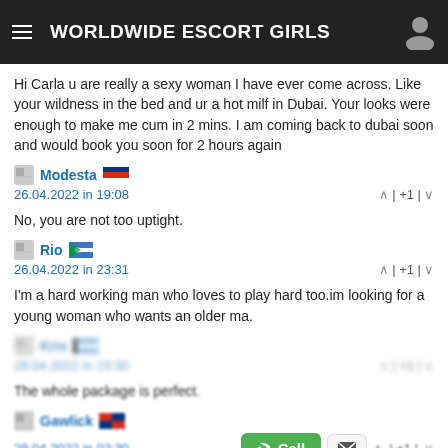WORLDWIDE ESCORT GIRLS
Hi Carla u are really a sexy woman I have ever come across. Like your wildness in the bed and ur a hot milf in Dubai. Your looks were enough to make me cum in 2 mins. I am coming back to dubai soon and would book you soon for 2 hours again
Modesta | 26.04.2022 in 19:08 | +1
No, you are not too uptight.
Rio | 26.04.2022 in 23:31 | +1
I'm a hard working man who loves to play hard too.im looking for a young woman who wants an older ma.
Kris | 28.04.2022 in 23:30 | +1
The whole package is perfect.
Gawlick | 29.04.2022 in 02:30 | +1